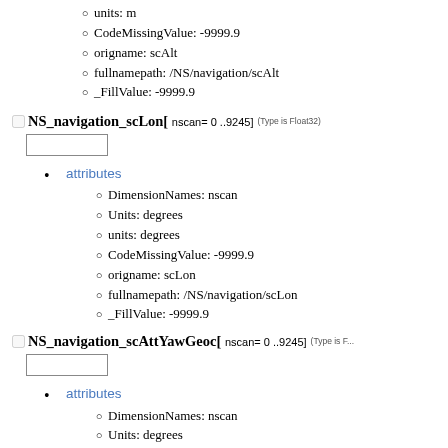units: m
CodeMissingValue: -9999.9
origname: scAlt
fullnamepath: /NS/navigation/scAlt
_FillValue: -9999.9
NS_navigation_scLon[ nscan= 0 ..9245] (Type is Float32)
attributes
DimensionNames: nscan
Units: degrees
units: degrees
CodeMissingValue: -9999.9
origname: scLon
fullnamepath: /NS/navigation/scLon
_FillValue: -9999.9
NS_navigation_scAttYawGeoc[ nscan= 0 ..9245] (Type is F...)
attributes
DimensionNames: nscan
Units: degrees
units: degrees